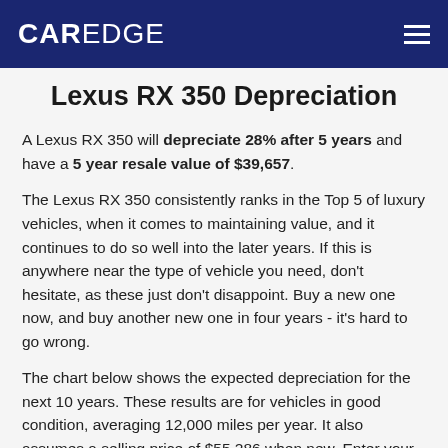CAREDGE
Lexus RX 350 Depreciation
A Lexus RX 350 will depreciate 28% after 5 years and have a 5 year resale value of $39,657.
The Lexus RX 350 consistently ranks in the Top 5 of luxury vehicles, when it comes to maintaining value, and it continues to do so well into the later years. If this is anywhere near the type of vehicle you need, don't hesitate, as these just don't disappoint. Buy a new one now, and buy another new one in four years - it's hard to go wrong.
The chart below shows the expected depreciation for the next 10 years. These results are for vehicles in good condition, averaging 12,000 miles per year. It also assumes a selling price of $55,286 when new. Enter your purchase price, expected ownership period